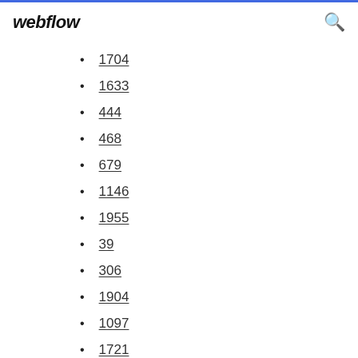webflow
1704
1633
444
468
679
1146
1955
39
306
1904
1097
1721